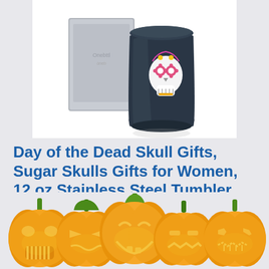[Figure (photo): Product photo: a dark navy/charcoal stainless steel stemless tumbler with a colorful sugar skull (Day of the Dead) graphic on the front, shown next to its grey gift box packaging. White background.]
Day of the Dead Skull Gifts, Sugar Skulls Gifts for Women, 12 oz Stainless Steel Tumbler with Lid, Mexicanos Tazas de día de Muertos, Onebttl (Black
[Figure (illustration): A row of five jack-o-lantern pumpkins with glowing carved faces, each with a green stem, in orange and yellow tones, partially cut off at bottom.]